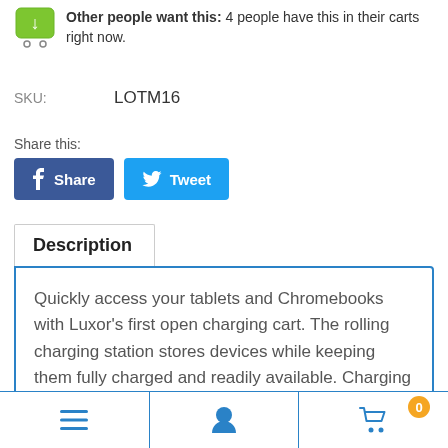Other people want this: 4 people have this in their carts right now.
SKU: LOTM16
Share this:
Share
Tweet
Description
Quickly access your tablets and Chromebooks with Luxor's first open charging cart. The rolling charging station stores devices while keeping them fully charged and readily available. Charging cables are neatly organized with cord clips and the steel frame emphasizes the clean and modern appearance. This one-of-a-kind cart is id